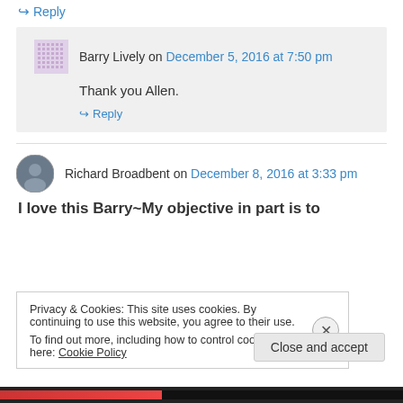↪ Reply
Barry Lively on December 5, 2016 at 7:50 pm
Thank you Allen.
↪ Reply
Richard Broadbent on December 8, 2016 at 3:33 pm
I love this Barry~My objective in part is to
Privacy & Cookies: This site uses cookies. By continuing to use this website, you agree to their use.
To find out more, including how to control cookies, see here: Cookie Policy
Close and accept